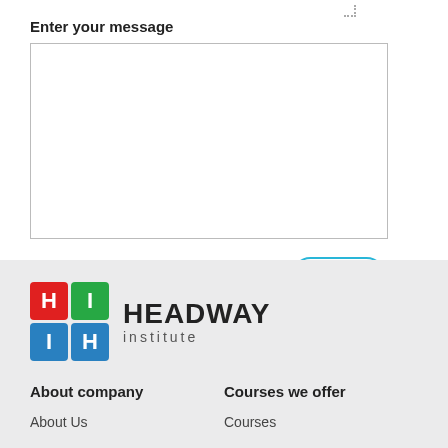Enter your message
[Figure (screenshot): Empty message text area input box with border]
Send
[Figure (logo): Headway Institute logo with colored grid of H letters and HEADWAY institute text]
About company
Courses we offer
About Us
Courses